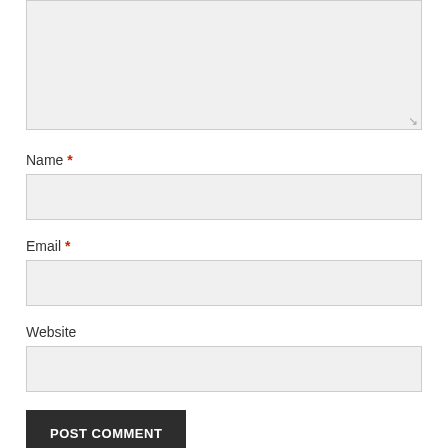[Figure (screenshot): A textarea input box with a resize handle in the bottom right corner, shown with a light gray background and thin border.]
Name *
[Figure (screenshot): A text input field for Name, light gray background with thin border.]
Email *
[Figure (screenshot): A text input field for Email, light gray background with thin border.]
Website
[Figure (screenshot): A text input field for Website, light gray background with thin border.]
POST COMMENT